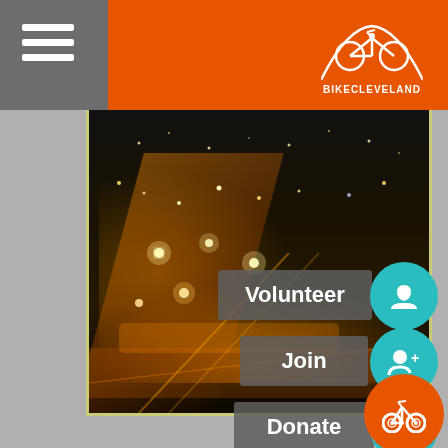Bike Cleveland website header with hamburger menu and logo
[Figure (screenshot): Bike Cleveland website screenshot showing a nighttime aerial city photo with action buttons: Volunteer, Join, Donate, and circular teal icons for home, add-member, donate, and orange bike icon]
Volunteer
Join
Donate